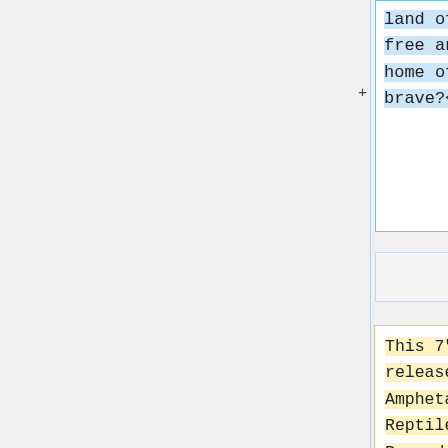land of the free and the home of the brave?<br>
This 7" released by Amphetamine Reptile Records was put together in conjunction with two nights of Buzz bartending at Grumpy's(12/13/2008,